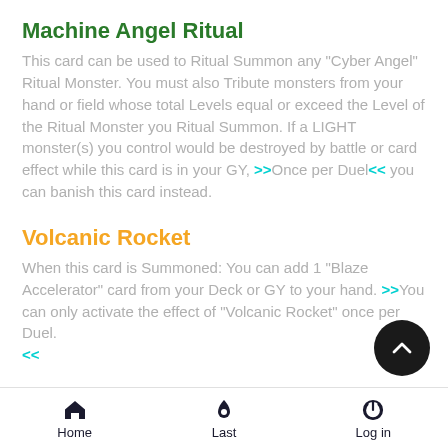Machine Angel Ritual
This card can be used to Ritual Summon any "Cyber Angel" Ritual Monster. You must also Tribute monsters from your hand or field whose total Levels equal or exceed the Level of the Ritual Monster you Ritual Summon. If a LIGHT monster(s) you control would be destroyed by battle or card effect while this card is in your GY, >>Once per Duel<< you can banish this card instead.
Volcanic Rocket
When this card is Summoned: You can add 1 "Blaze Accelerator" card from your Deck or GY to your hand. >>You can only activate the effect of "Volcanic Rocket" once per Duel.<<
Blazewing Butterfly
This card is treated as a Normal Monster while face-up on the...
Home  Last  Log in